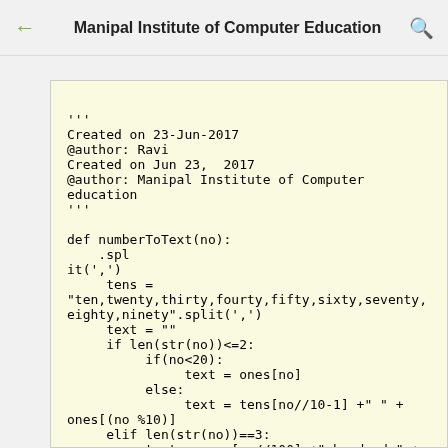Manipal Institute of Computer Education
'''
Created on 23-Jun-2017
@author: Ravi
Created on Jun 23, 2017
@author: Manipal Institute of Computer
education
'''

def numberToText(no):
     ones = "
,one,two,three,four,five,six,seven,eight,nine,
ten,eleven,tweleve,thirteen,fourteen,fifteen,s
ixteen,seventeen,eighteen,nineteen,twenty".spl
it(',')
     tens =
"ten,twenty,thirty,fourty,fifty,sixty,seventy,
eighty,ninety".split(',')
     text = ""
     if len(str(no))<=2:
          if(no<20):
               text = ones[no]
          else:
               text = tens[no//10-1] +" " +
one[(no %10)]
     elif len(str(no))==3:
          text = ones[no//100] +" hundred " +